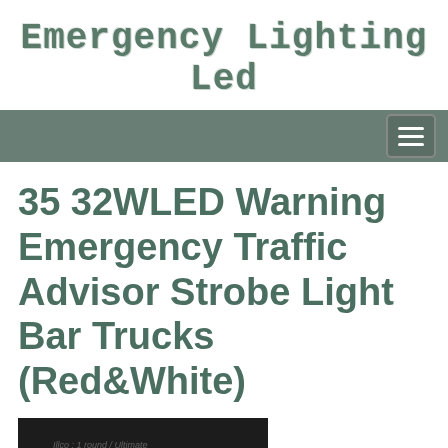Emergency Lighting Led
35 32WLED Warning Emergency Traffic Advisor Strobe Light Bar Trucks (Red&White)
[Figure (photo): Product photo of a red and white LED emergency warning strobe light bar for trucks, shown against a dark background with illuminated LEDs visible.]